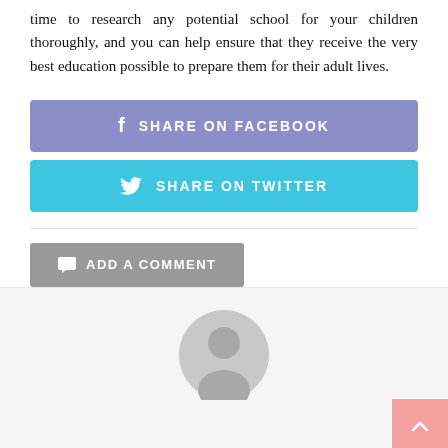time to research any potential school for your children thoroughly, and you can help ensure that they receive the very best education possible to prepare them for their adult lives.
SHARE ON FACEBOOK
SHARE ON TWITTER
ADD A COMMENT
[Figure (illustration): Generic user avatar icon - grey circular silhouette of a person]